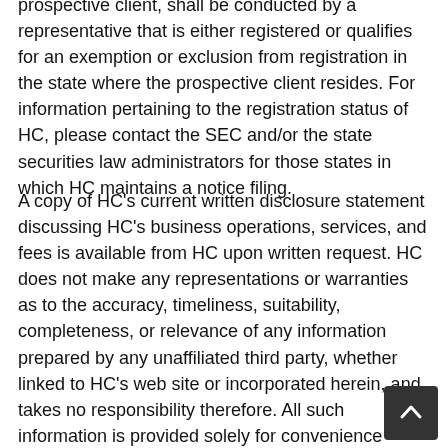prospective client, shall be conducted by a representative that is either registered or qualifies for an exemption or exclusion from registration in the state where the prospective client resides. For information pertaining to the registration status of HC, please contact the SEC and/or the state securities law administrators for those states in which HC maintains a notice filing.
A copy of HC's current written disclosure statement discussing HC's business operations, services, and fees is available from HC upon written request. HC does not make any representations or warranties as to the accuracy, timeliness, suitability, completeness, or relevance of any information prepared by any unaffiliated third party, whether linked to HC's web site or incorporated herein, and takes no responsibility therefore. All such information is provided solely for convenience purposes only and all users thereof should be guided accordingly.